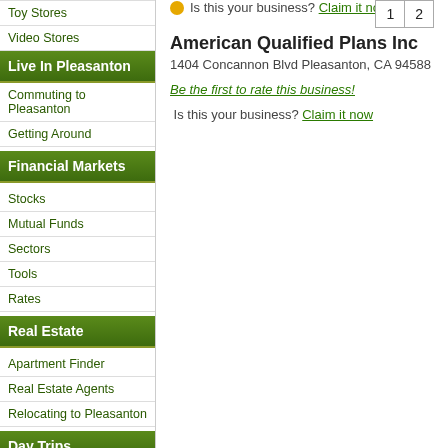Toy Stores
Video Stores
Live In Pleasanton
Commuting to Pleasanton
Getting Around
Financial Markets
Stocks
Mutual Funds
Sectors
Tools
Rates
Real Estate
Apartment Finder
Real Estate Agents
Relocating to Pleasanton
Day Trips
San Francisco
Napa, CA
Tri-Valley Wineries and Tasting Rooms
Local Business
Is this your business? Claim it now
American Qualified Plans Inc
1404 Concannon Blvd Pleasanton, CA 94588
Be the first to rate this business!
Is this your business? Claim it now